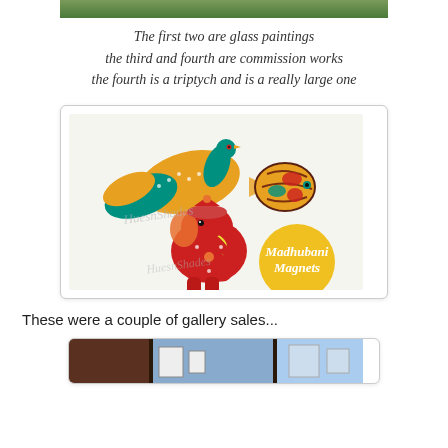[Figure (photo): Partial view of the top image — glass paintings or commission artworks, shown cropped at top of page]
The first two are glass paintings
the third and fourth are commission works
the fourth is a triptych and is a really large one
[Figure (photo): Photo of Madhubani Magnets — decorative magnets shaped like a bird (peacock), a fish, and an elephant, all in colorful traditional Indian Madhubani painting style. A yellow circle in the bottom right reads 'Madhubani Magnets'. Watermark text 'HuesnShades' visible.]
These were a couple of gallery sales...
[Figure (photo): Partial view of a gallery interior showing framed artworks on walls, cropped at the bottom of the page]